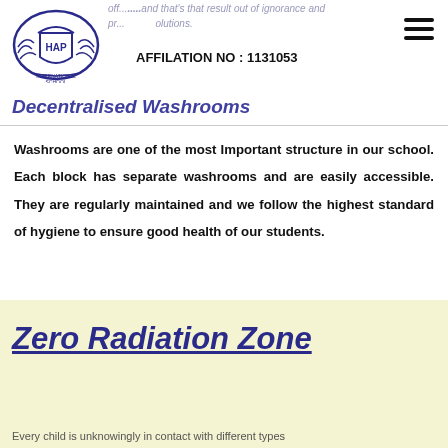AFFILATION NO : 1131053
off... and that's that result out of ignorance and pr... utions.
Decentralised Washrooms
Washrooms are one of the most Important structure in our school. Each block has separate washrooms and are easily accessible. They are regularly maintained and we follow the highest standard of hygiene to ensure good health of our students.
Zero Radiation Zone
Every child is unknowingly in contact with different types